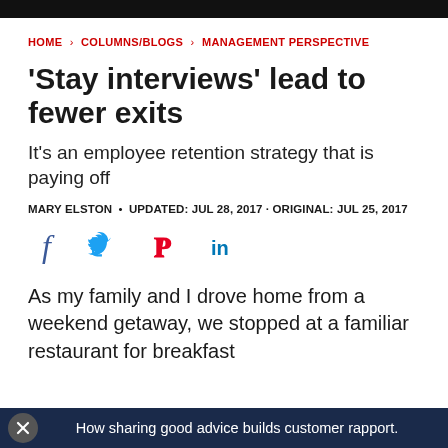HOME > COLUMNS/BLOGS > MANAGEMENT PERSPECTIVE
'Stay interviews' lead to fewer exits
It's an employee retention strategy that is paying off
MARY ELSTON • UPDATED: JUL 28, 2017 · ORIGINAL: JUL 25, 2017
[Figure (infographic): Social media share icons: Facebook (f), Twitter (bird), Pinterest (P), LinkedIn (in)]
As my family and I drove home from a weekend getaway, we stopped at a familiar restaurant for breakfast
How sharing good advice builds customer rapport.